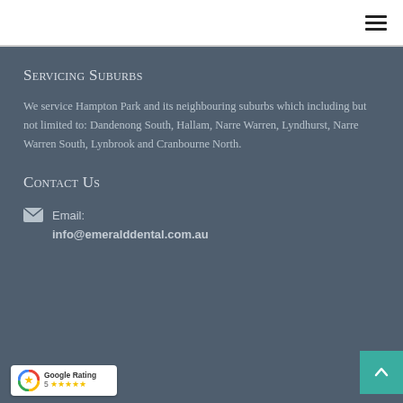Servicing Suburbs
We service Hampton Park and its neighbouring suburbs which including but not limited to: Dandenong South, Hallam, Narre Warren, Lyndhurst, Narre Warren South, Lynbrook and Cranbourne North.
Contact Us
Email: info@emeralddental.com.au
[Figure (logo): Google Rating badge showing 5 stars]
[Figure (other): Scroll to top button (teal arrow up)]